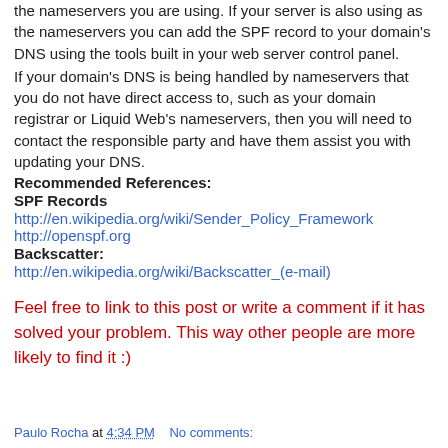the nameservers you are using. If your server is also using as the nameservers you can add the SPF record to your domain's DNS using the tools built in your web server control panel.
If your domain's DNS is being handled by nameservers that you do not have direct access to, such as your domain registrar or Liquid Web's nameservers, then you will need to contact the responsible party and have them assist you with updating your DNS.
Recommended References:
SPF Records
http://en.wikipedia.org/wiki/Sender_Policy_Framework
http://openspf.org
Backscatter:
http://en.wikipedia.org/wiki/Backscatter_(e-mail)
Feel free to link to this post or write a comment if it has solved your problem. This way other people are more likely to find it :)
Paulo Rocha at 4:34 PM   No comments: